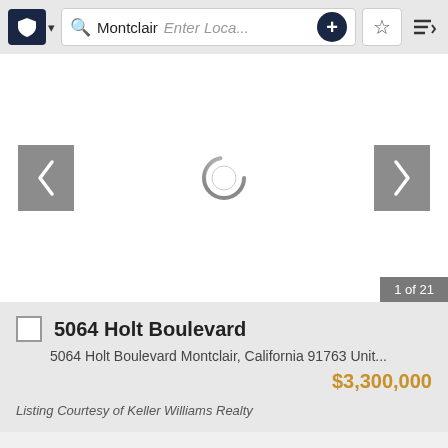[Figure (screenshot): Mobile app toolbar with shield/logo button, search bar showing 'Montclair' and 'Enter Loca...' placeholder, plus button, star/favorites button, and sort button]
[Figure (screenshot): Image slider area with left and right navigation arrows and a loading spinner in the center, showing '1 of 21' photo counter badge]
5064 Holt Boulevard
5064 Holt Boulevard Montclair, California 91763 Unit...
$3,300,000
Listing Courtesy of Keller Williams Realty